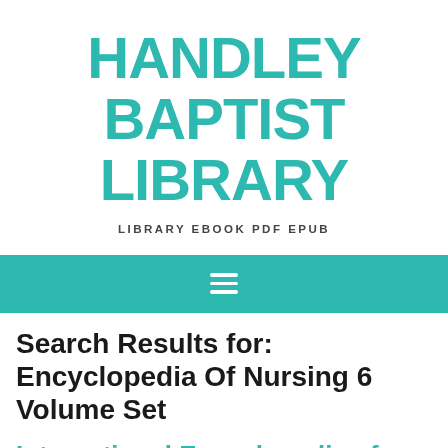HANDLEY BAPTIST LIBRARY
LIBRARY EBOOK PDF EPUB
[Figure (other): Teal navigation bar with hamburger menu icon (three horizontal white lines)]
Search Results for: Encyclopedia Of Nursing 6 Volume Set
International Encyclopedia of